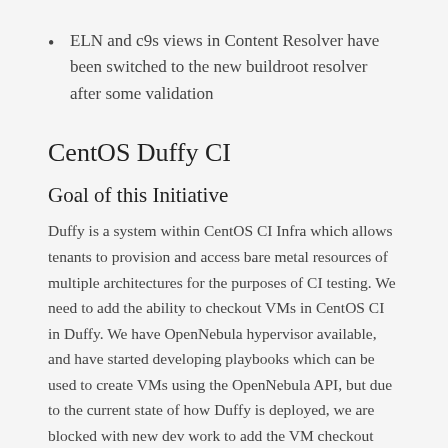ELN and c9s views in Content Resolver have been switched to the new buildroot resolver after some validation
CentOS Duffy CI
Goal of this Initiative
Duffy is a system within CentOS CI Infra which allows tenants to provision and access bare metal resources of multiple architectures for the purposes of CI testing. We need to add the ability to checkout VMs in CentOS CI in Duffy. We have OpenNebula hypervisor available, and have started developing playbooks which can be used to create VMs using the OpenNebula API, but due to the current state of how Duffy is deployed, we are blocked with new dev work to add the VM checkout functionality.